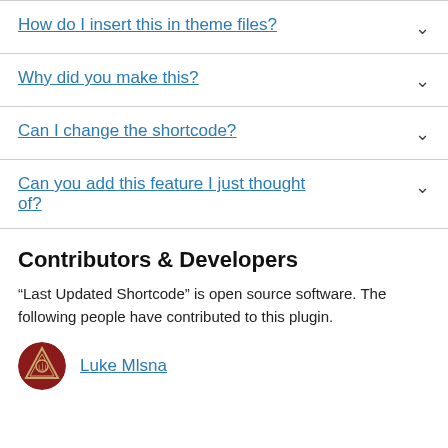How do I insert this in theme files?
Why did you make this?
Can I change the shortcode?
Can you add this feature I just thought of?
Contributors & Developers
“Last Updated Shortcode” is open source software. The following people have contributed to this plugin.
Luke Mlsna